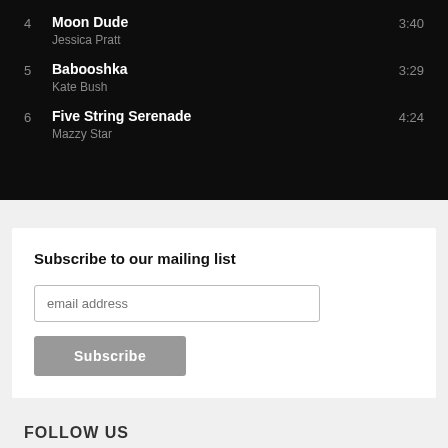4  Moon Dude  3:40 — Jessica Pratt
5  Babooshka  3:29 — Kate Bush
6  Five String Serenade  4:24 — Mazzy Star
Subscribe to our mailing list
email address
Subscribe
FOLLOW US